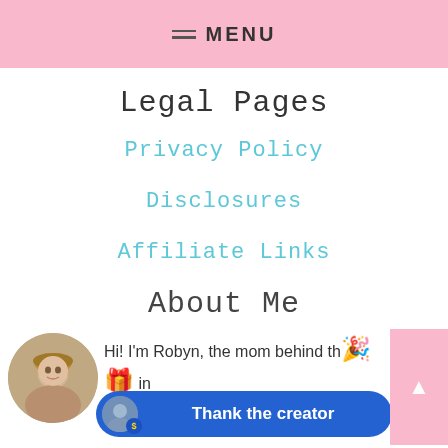MENU
Legal Pages
Privacy Policy
Disclosures
Affiliate Links
About Me
Hi! I'm Robyn, the mom behind th... adventures in Abbyland when my daughter was
[Figure (photo): Circular avatar photo of a woman with blonde hair]
[Figure (infographic): Thank the creator button with avatar and dollar coin badge]